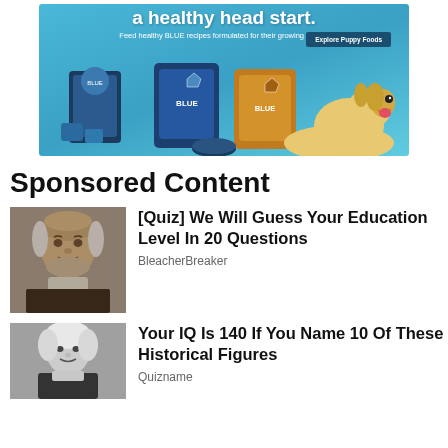[Figure (photo): Blue Buffalo pet food advertisement banner showing dog food bags, cans, and a golden retriever puppy on a blue background with text 'a healthy head start. Feed healthy BLUE recipes formulated for their growing needs.' and an 'Explore Puppy Foods' button.]
Sponsored Content
[Figure (photo): Portrait of an elderly bald man in historical dress, appearing to be a painting of a historical figure.]
[Quiz] We Will Guess Your Education Level In 20 Questions
BleacherBreaker
[Figure (photo): Black and white photograph of a historical figure with white hair.]
Your IQ Is 140 If You Name 10 Of These Historical Figures
Quizname